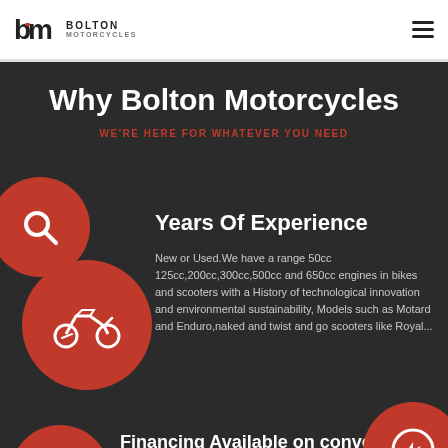[Figure (logo): Bolton Motorcycles logo with stylized 'bm' monogram and text]
[Figure (illustration): Hamburger menu icon (three horizontal lines)]
Why Bolton Motorcycles
WE'RE HERE FOR WHATEVER YOU NEED
[Figure (illustration): Red circle with white search/magnifying glass icon, partially off left edge]
[Figure (illustration): Red circle with white motorcycle icon]
Years Of Experience
New or Used.We have a range 50cc 125cc,200cc,300cc,500cc and 650cc engines in bikes and scooters with a History of technological innovation and environmental sustainability, Models such as Motard and Enduro,naked and twist and go scooters like Royal...
[Figure (illustration): Red circle with white document/invoice icon, partially visible at bottom left]
Financing Available on conventional
[Figure (illustration): Red circle with white Facebook Messenger icon, bottom right]